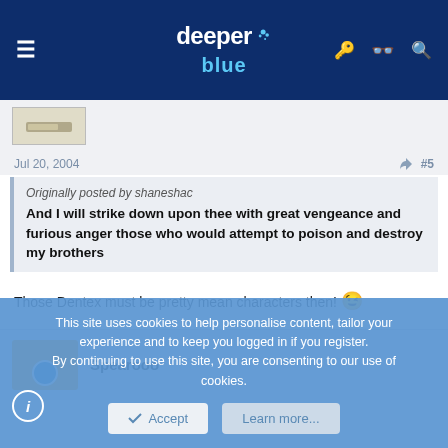deeper blue — website header with navigation icons
[Figure (screenshot): Small avatar thumbnail image]
Jul 20, 2004   #5
Originally posted by shaneshac
And I will strike down upon thee with great vengeance and furious anger those who would attempt to poison and destroy my brothers
Those Dentex must be pretty mean characters then! 😉
Spearooo
This site uses cookies to help personalise content, tailor your experience and to keep you logged in if you register.
By continuing to use this site, you are consenting to our use of cookies.